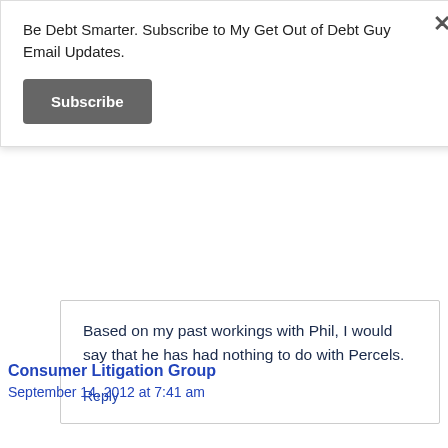Be Debt Smarter. Subscribe to My Get Out of Debt Guy Email Updates.
Subscribe
Based on my past workings with Phil, I would say that he has had nothing to do with Percels.
Reply
Consumer Litigation Group
September 14, 2012 at 7:41 am